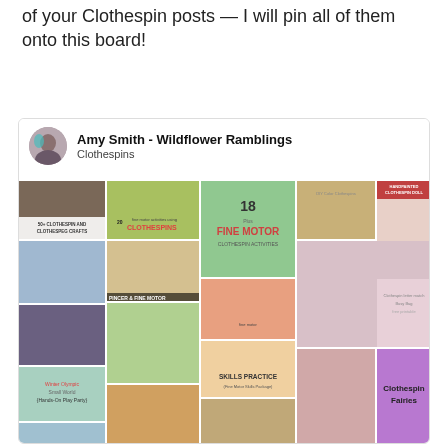of your Clothespin posts — I will pin all of them onto this board!
[Figure (screenshot): Pinterest board screenshot showing Amy Smith - Wildflower Ramblings Clothespins board with a mosaic of clothespin craft activity images including fine motor activities, clothespin fairies, handpainted clothespin dolls, skills practice activities, and other clothespin crafts.]